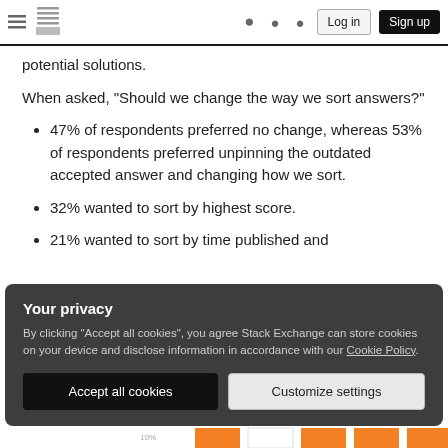Stack Exchange navigation bar with hamburger menu, logo, help icon, chat icon, search icon, Log in button, Sign up button
potential solutions.
When asked, "Should we change the way we sort answers?"
47% of respondents preferred no change, whereas 53% of respondents preferred unpinning the outdated accepted answer and changing how we sort.
32% wanted to sort by highest score.
21% wanted to sort by time published and
Your privacy
By clicking "Accept all cookies", you agree Stack Exchange can store cookies on your device and disclose information in accordance with our Cookie Policy.
Accept all cookies  Customize settings